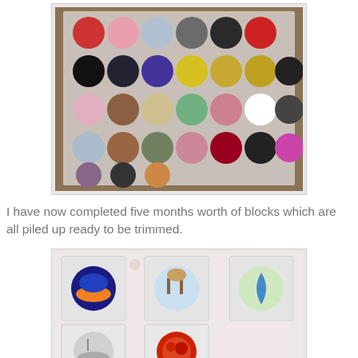[Figure (photo): Photo of multiple circular fabric quilt blocks laid out on a table, arranged in rows showing various colorful printed fabric circles on white square backgrounds.]
I have now completed five months worth of blocks which are all piled up ready to be trimmed.
[Figure (photo): Photo of stacks of square quilt blocks piled on a floral surface, each stack showing a circular fabric applique on top with various images including a sunset, a deer/rabbit, a snake, a lighthouse, and fruit/vegetables.]